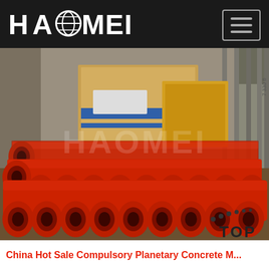HAOMEI
[Figure (photo): Red concrete pump delivery pipes stacked inside a shipping container, viewed from the open end. Cardboard-boxed machinery visible in background. Watermark 'HAOMEI' overlaid on image. 'TOP' button with dots in bottom-right corner.]
China Hot Sale Compulsory Planetary Concrete M...